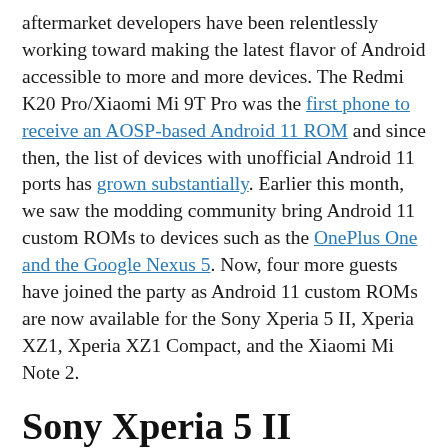aftermarket developers have been relentlessly working toward making the latest flavor of Android accessible to more and more devices. The Redmi K20 Pro/Xiaomi Mi 9T Pro was the first phone to receive an AOSP-based Android 11 ROM and since then, the list of devices with unofficial Android 11 ports has grown substantially. Earlier this month, we saw the modding community bring Android 11 custom ROMs to devices such as the OnePlus One and the Google Nexus 5. Now, four more guests have joined the party as Android 11 custom ROMs are now available for the Sony Xperia 5 II, Xperia XZ1, Xperia XZ1 Compact, and the Xiaomi Mi Note 2.
Sony Xperia 5 II
The Sony Xperia 5 II, which was launched last year with Android 10, has recently picked up its official Android 11 update in some regions. And now, fans of the LineageOS project will be glad to know that an unofficial build of the custom ROM is already available for the Xperia 5 II. If you do decide to flash it, make sure to read through the